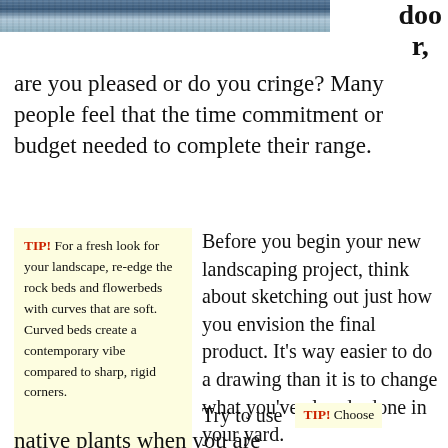[Figure (photo): Partial photo strip at top of page, showing water or textured blue-grey surface]
door, are you pleased or do you cringe? Many people feel that the time commitment or budget needed to complete their range.
TIP! For a fresh look for your landscape, re-edge the rock beds and flowerbeds with curves that are soft. Curved beds create a contemporary vibe compared to sharp, rigid corners.
Before you begin your new landscaping project, think about sketching out just how you envision the final product. It's way easier to do a drawing than it is to change what you've already done in your yard.
Try to use
TIP! Choose
native plants when you are